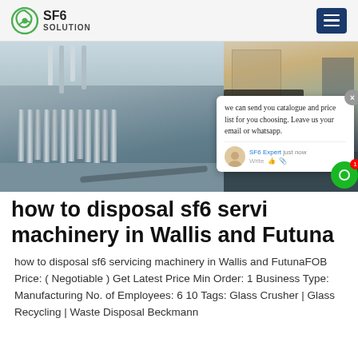SF6 SOLUTION
[Figure (photo): Industrial gas cylinders at an outdoor facility with equipment and machinery in background. A chat popup overlay is visible on the right side of the image with message: we can send you catalogue and price list for you choosing. Leave us your email or whatsapp. SF6 Expert · just now]
how to disposal sf6 servicing machinery in Wallis and Futuna
how to disposal sf6 servicing machinery in Wallis and FutunaFOB Price: ( Negotiable ) Get Latest Price Min Order: 1 Business Type: Manufacturing No. of Employees: 6 10 Tags: Glass Crusher | Glass Recycling | Waste Disposal Beckmann